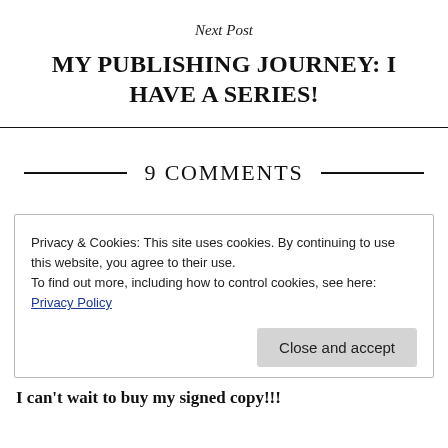Next Post
MY PUBLISHING JOURNEY: I HAVE A SERIES!
9 COMMENTS
Privacy & Cookies: This site uses cookies. By continuing to use this website, you agree to their use.
To find out more, including how to control cookies, see here: Privacy Policy
Close and accept
I can't wait to buy my signed copy!!!